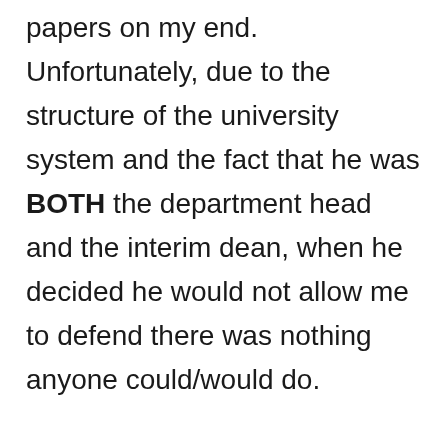papers on my end. Unfortunately, due to the structure of the university system and the fact that he was BOTH the department head and the interim dean, when he decided he would not allow me to defend there was nothing anyone could/would do.

I wasn't allowed to submit my paper to the journal either, and had to just walk away from the paper and the two years of work that went into it.  I've never been so mad—